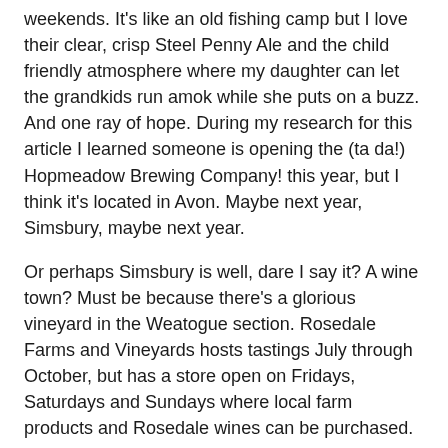weekends. It's like an old fishing camp but I love their clear, crisp Steel Penny Ale and the child friendly atmosphere where my daughter can let the grandkids run amok while she puts on a buzz. And one ray of hope. During my research for this article I learned someone is opening the (ta da!) Hopmeadow Brewing Company! this year, but I think it's located in Avon. Maybe next year, Simsbury, maybe next year.
Or perhaps Simsbury is well, dare I say it? A wine town? Must be because there's a glorious vineyard in the Weatogue section. Rosedale Farms and Vineyards hosts tastings July through October, but has a store open on Fridays, Saturdays and Sundays where local farm products and Rosedale wines can be purchased. I'm a wine person and was pleased with the versatility of Rosedale's local grapes. Marechal Foch, Cayuga, Seyval, Marquette and St Croix varietals excelled on their own or blended with Riesling and Cabernet Sauvignon in an eminently drinkable, elegant little quaff. Within 10 miles two other very good wineries offer tours, cases, tastings, events